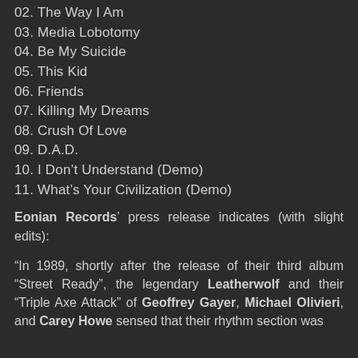02. The Way I Am
03. Media Lobotomy
04. Be My Suicide
05. This Kid
06. Friends
07. Killing My Dreams
08. Crush Of Love
09. D.A.D.
10. I Don't Understand (Demo)
11. What's Your Civilization (Demo)
Eonian Records' press release indicates (with slight edits):
“In 1989, shortly after the release of their third album “Street Ready”, the legendary Leatherwolf and their “Triple Axe Attack” of Geoffrey Gayer, Michael Olivieri, and Carey Howe sensed that their rhythm section was